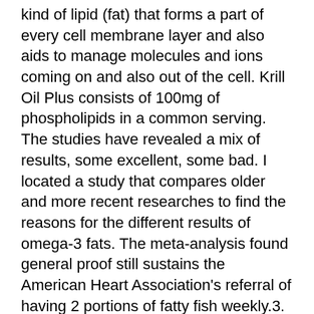kind of lipid (fat) that forms a part of every cell membrane layer and also aids to manage molecules and ions coming on and also out of the cell. Krill Oil Plus consists of 100mg of phospholipids in a common serving.
The studies have revealed a mix of results, some excellent, some bad. I located a study that compares older and more recent researches to find the reasons for the different results of omega-3 fats. The meta-analysis found general proof still sustains the American Heart Association's referral of having 2 portions of fatty fish weekly.3.
Skin.
Some individuals are honored with a